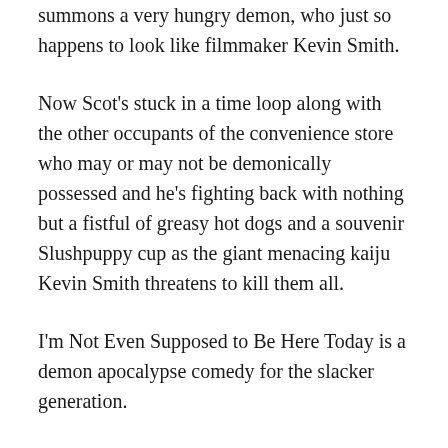summons a very hungry demon, who just so happens to look like filmmaker Kevin Smith.
Now Scot's stuck in a time loop along with the other occupants of the convenience store who may or may not be demonically possessed and he's fighting back with nothing but a fistful of greasy hot dogs and a souvenir Slushpuppy cup as the giant menacing kaiju Kevin Smith threatens to kill them all.
I'm Not Even Supposed to Be Here Today is a demon apocalypse comedy for the slacker generation.
Jailbroke —
Future slacker Kelso's got the easiest gig in the galaxy, working the Gordita Especial! pod on board an interstellar cruiser, although that doesn't stop him from